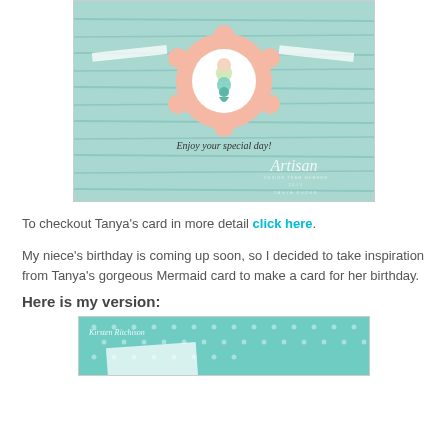[Figure (photo): Photo of a handmade birthday card featuring a mermaid stamp in a flower-shaped frame, with teal wood-grain background, white ribbons, and the text 'Enjoy your special day!' with an Artisan watermark and 'TANYA RUDER' at the bottom.]
To checkout Tanya's card in more detail click here.
My niece's birthday is coming up soon, so I decided to take inspiration from Tanya's gorgeous Mermaid card to make a card for her birthday.
Here is my version:
[Figure (photo): Partial photo of a second handmade card with a teal polka-dot background, a white card panel, and cursive script 'Kirsten Ritchison' at the top left.]